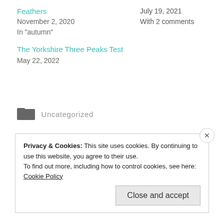Feathers
November 2, 2020
In "autumn"
July 19, 2021
With 2 comments
The Yorkshire Three Peaks Test
May 22, 2022
Uncategorized
Privacy & Cookies: This site uses cookies. By continuing to use this website, you agree to their use.
To find out more, including how to control cookies, see here: Cookie Policy
Close and accept